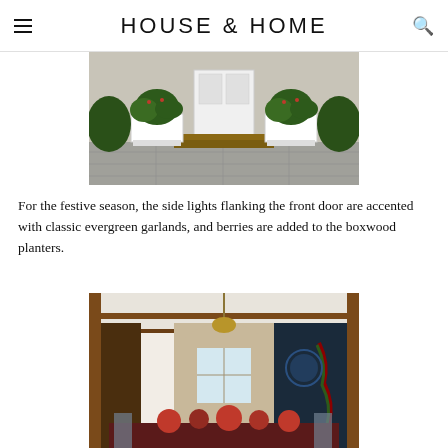HOUSE & HOME
[Figure (photo): Exterior front door of a house with white planters containing evergreen arrangements and berries on a flagstone patio]
For the festive season, the side lights flanking the front door are accented with classic evergreen garlands, and berries are added to the boxwood planters.
[Figure (photo): Interior dining room with wood paneling, arched doorway, chandelier, and holiday table setting with red flowers]